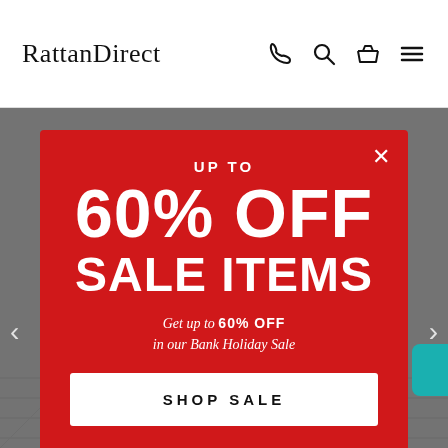RattanDirect
[Figure (screenshot): RattanDirect website screenshot with a promotional popup modal showing 'UP TO 60% OFF SALE ITEMS' in white text on a red background, with a 'SHOP SALE' button, overlaying a grey furniture product page.]
UP TO 60% OFF
SALE ITEMS
Get up to 60% OFF in our Bank Holiday Sale
SHOP SALE